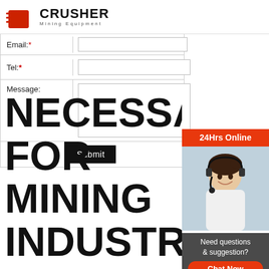[Figure (logo): Crusher Mining Equipment logo with red shopping bag icon and bold CRUSHER text]
| Email:* | (input field) |
| Tel:* | (input field) |
| Message: | (textarea) |
|  | Submit |
NECESSARY FOR MINING INDUSTRIES
[Figure (other): 24Hrs Online sidebar with customer service representative photo, Chat Now button, Enquiry link, and limingjlmofen@sina.com email]